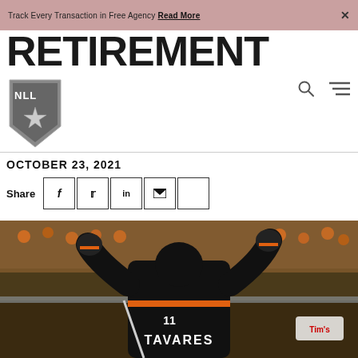Track Every Transaction in Free Agency Read More
RETIREMENT
[Figure (logo): NLL shield logo with star design in grey tones]
OCTOBER 23, 2021
Share [Facebook] [Twitter] [LinkedIn] [Email] []
[Figure (photo): Lacrosse player wearing black and orange jersey with TAVARES on the back, arms raised to crowd, in an arena filled with orange-clad fans]